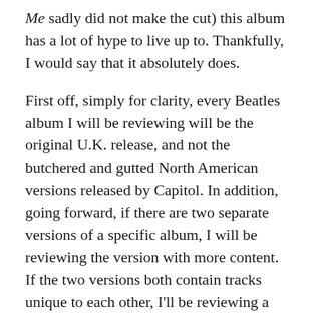Me sadly did not make the cut) this album has a lot of hype to live up to. Thankfully, I would say that it absolutely does.
First off, simply for clarity, every Beatles album I will be reviewing will be the original U.K. release, and not the butchered and gutted North American versions released by Capitol. In addition, going forward, if there are two separate versions of a specific album, I will be reviewing the version with more content. If the two versions both contain tracks unique to each other, I'll be reviewing a sort of "composite" version containing all tracks, such as, for example, Aftermath by The Rolling Stones or Are You Experienced? by The Jimi Hendrix